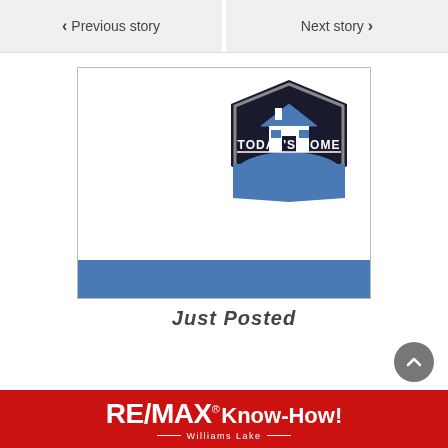< Previous story   Next story >
[Figure (logo): Today's Home badge logo with house icon on dark background and blue swoosh, with a RE/MAX Know-How Williams Lake banner at the bottom. The image frame shows the Today's Home shield logo in the upper right and a blue bar at the bottom.]
Just Posted
[Figure (logo): RE/MAX Know-How! Williams Lake red banner with white text]